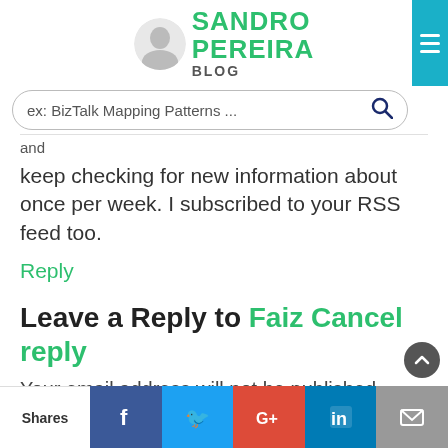[Figure (logo): Sandro Pereira Blog header logo with photo and green text]
ex: BizTalk Mapping Patterns ...
and
keep checking for new information about once per week. I subscribed to your RSS feed too.
Reply
Leave a Reply to Faiz Cancel reply
Your email address will not be published. Required fields are marked *